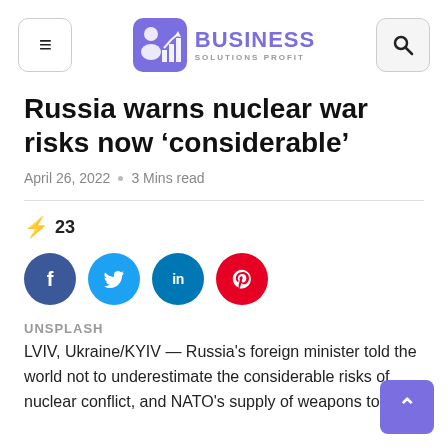Business Solutions Profit
Russia warns nuclear war risks now ‘considerable’
April 26, 2022  o  3 Mins read
⚡ 23
[Figure (infographic): Social sharing buttons: Facebook (blue circle), Twitter (cyan circle), LinkedIn (dark teal circle), Pinterest (red circle)]
UNSPLASH
LVIV, Ukraine/KYIV — Russia’s foreign minister told the world not to underestimate the considerable risks of nuclear conflict, and NATO’s supply of weapons to